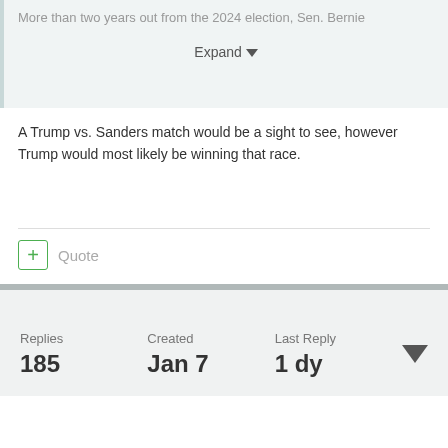[Figure (screenshot): Quoted text box with faded text: 'More than two years out from the 2024 election, Sen. Bernie' and an Expand button with dropdown arrow]
A Trump vs. Sanders match would be a sight to see, however Trump would most likely be winning that race.
+ Quote
Replies 185   Created Jan 7   Last Reply 1 dy
Forum Administrators
Hameedeh   Posted May 13